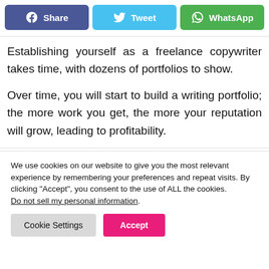[Figure (other): Social share buttons: Facebook Share (blue-purple), Twitter Tweet (light blue), WhatsApp (green)]
Establishing yourself as a freelance copywriter takes time, with dozens of portfolios to show.
Over time, you will start to build a writing portfolio; the more work you get, the more your reputation will grow, leading to profitability.
We use cookies on our website to give you the most relevant experience by remembering your preferences and repeat visits. By clicking “Accept”, you consent to the use of ALL the cookies. Do not sell my personal information.
Cookie Settings | Accept